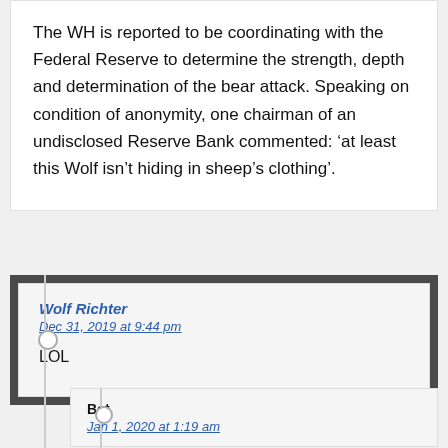The WH is reported to be coordinating with the Federal Reserve to determine the strength, depth and determination of the bear attack. Speaking on condition of anonymity, one chairman of an undisclosed Reserve Bank commented: ‘at least this Wolf isn’t hiding in sheep’s clothing’.
Wolf Richter
Dec 31, 2019 at 9:44 pm

LOL
Bet
Jan 1, 2020 at 1:19 am